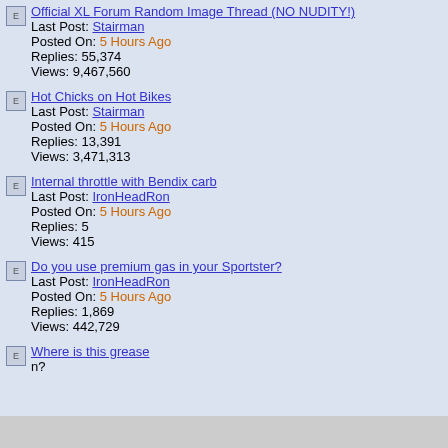Official XL Forum Random Image Thread (NO NUDITY!) | Last Post: Stairman | Posted On: 5 Hours Ago | Replies: 55,374 | Views: 9,467,560
Hot Chicks on Hot Bikes | Last Post: Stairman | Posted On: 5 Hours Ago | Replies: 13,391 | Views: 3,471,313
Internal throttle with Bendix carb | Last Post: IronHeadRon | Posted On: 5 Hours Ago | Replies: 5 | Views: 415
Do you use premium gas in your Sportster? | Last Post: IronHeadRon | Posted On: 5 Hours Ago | Replies: 1,869 | Views: 442,729
Where is this grease n?
[Figure (logo): DK High Custom Products logo with orange/yellow stylized text on black background]
[Figure (photo): Gray advertisement placeholder area]
[Figure (photo): Ulta Beauty advertisement banner with makeup images and SHOP NOW call to action]
infolinks